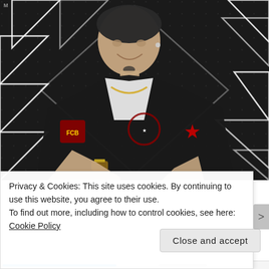[Figure (photo): A man wearing a black velvet blazer with patches (including a Barcelona FC badge and a red star patch), a white t-shirt, gold chain necklace, and a gold watch, seated and smiling at the camera. Background has a black geometric/triangular pattern.]
Privacy & Cookies: This site uses cookies. By continuing to use this website, you agree to their use.
To find out more, including how to control cookies, see here: Cookie Policy
Close and accept